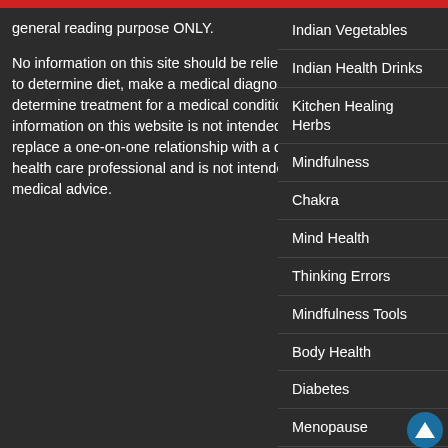general reading purpose ONLY.

No information on this site should be relied upon to determine diet, make a medical diagnosis, or determine treatment for a medical condition. The information on this website is not intended to replace a one-on-one relationship with a qualified health care professional and is not intended as medical advice.
Indian Vegetables
Indian Health Drinks
Kitchen Healing Herbs
Mindfulness
Chakra
Mind Health
Thinking Errors
Mindfulness Tools
Body Health
Diabetes
Menopause
Privacy | Disclaimer